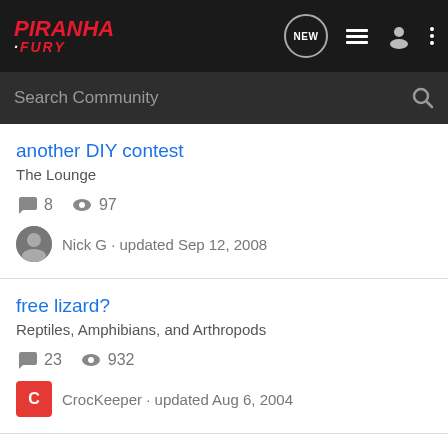PIRANHA FURY
Search Community
another DIY contest
The Lounge
8 comments · 97 views
Nick G · updated Sep 12, 2008
free lizard?
Reptiles, Amphibians, and Arthropods
23 comments · 932 views
CrocKeeper · updated Aug 6, 2004
50-50 Drawings